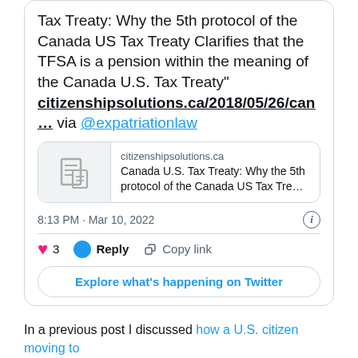Tax Treaty: Why the 5th protocol of the Canada US Tax Treaty Clarifies that the TFSA is a pension within the meaning of the Canada U.S. Tax Treaty" citizenshipsolutions.ca/2018/05/26/can… via @expatriationlaw
[Figure (screenshot): Twitter link preview card for citizenshipsolutions.ca showing article: Canada U.S. Tax Treaty: Why the 5th protocol of the Canada US Tax Tre...]
8:13 PM · Mar 10, 2022
3  Reply  Copy link
Explore what's happening on Twitter
In a previous post I discussed how a U.S. citizen moving to